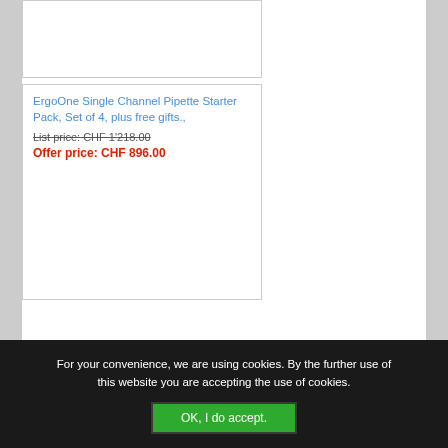ErgoOne Single Channel Pipette Starter Pack, Set of 4, plus free gifts.,
List price: CHF 1'218.00
Offer price: CHF 896.00
For your convenience, we are using cookies. By the further use of this website you are accepting the use of cookies.
OK, I do accept.